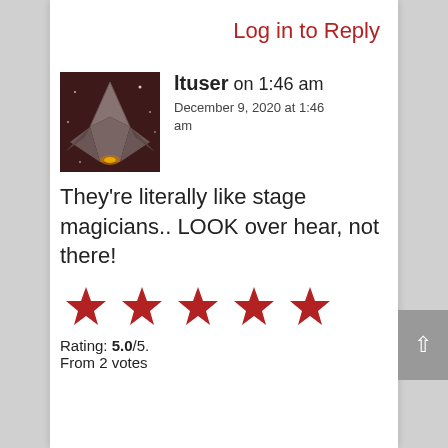Log in to Reply
[Figure (photo): User avatar image showing a spacecraft or sci-fi scene with dark reddish tones]
ltuser on 1:46 am
December 9, 2020 at 1:46 am
They're literally like stage magicians.. LOOK over hear, not there!
[Figure (other): Five red star rating icons]
Rating: 5.0/5.
From 2 votes